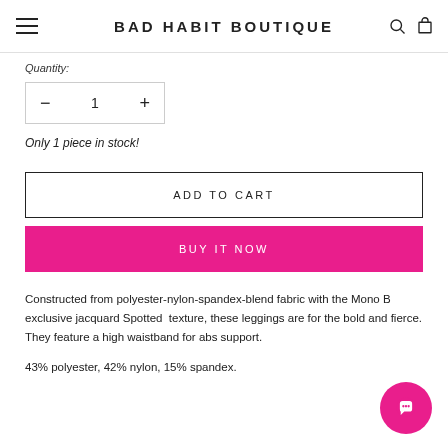BAD HABIT BOUTIQUE
Quantity:
− 1 +
Only 1 piece in stock!
ADD TO CART
BUY IT NOW
Constructed from polyester-nylon-spandex-blend fabric with the Mono B exclusive jacquard Spotted texture, these leggings are for the bold and fierce. They feature a high waistband for abs support.
43% polyester, 42% nylon, 15% spandex.